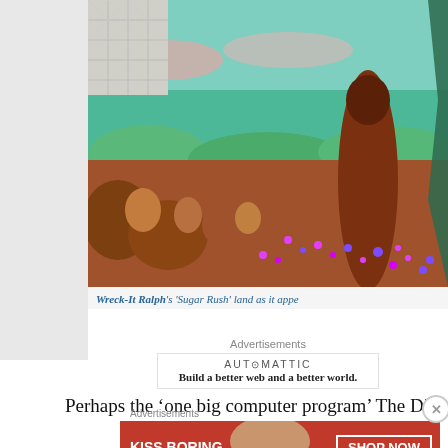[Figure (screenshot): Animated still from Wreck-It Ralph showing the 'Sugar Rush' candy land with colorful chocolate and candy terrain under a teal sky, with a large chocolate tree structure. The left portion has a gray sidebar.]
Wreck-It Ralph's 'Sugar Rush' land as it appe
Advertisements
[Figure (logo): Automattic advertisement: 'AUT⊙MATTIC' logo with tagline 'Build a better web and a better world.']
Perhaps the 'one big computer program' The Disney Theory
Advertisements
[Figure (photo): Macy's advertisement banner: 'KISS BORING LIPS GOODBYE' with image of woman with red lips, 'SHOP NOW' button and Macy's star logo on red background.]